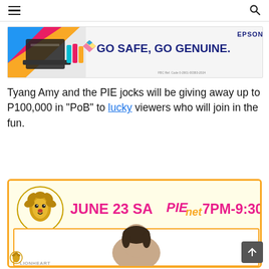Navigation header with hamburger menu and search icon
[Figure (photo): Epson advertisement banner: GO SAFE, GO GENUINE. Shows Epson printer and ink bottles with colorful design on left. EPSON logo top right. Small reg code bottom right.]
Tyang Amy and the PIE jocks will be giving away up to P100,000 in “PoB” to lucky viewers who will join in the fun.
[Figure (photo): Promotional banner for PIEnet show: JUNE 23 SA PIEnet 7PM-9:30PM on yellow background with orange border. Lionheart TV logo bottom left. Person's head visible bottom center.]